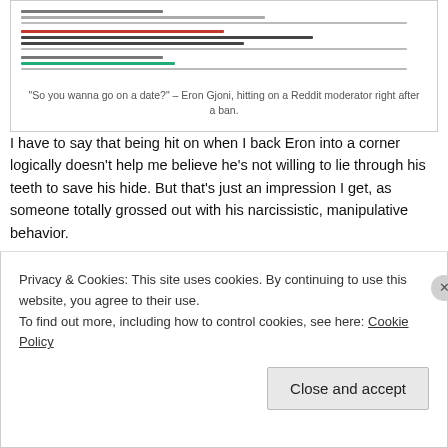[Figure (screenshot): Screenshot of a Reddit or forum conversation showing text messages/posts with colored lines simulating chat content]
“So you wanna go on a date?” – Eron Gjoni, hitting on a Reddit moderator right after a ban.
I have to say that being hit on when I back Eron into a corner logically doesn’t help me believe he’s not willing to lie through his teeth to save his hide. But that’s just an impression I get, as someone totally grossed out with his narcissistic, manipulative behavior.
Summary
Privacy & Cookies: This site uses cookies. By continuing to use this website, you agree to their use.
To find out more, including how to control cookies, see here: Cookie Policy